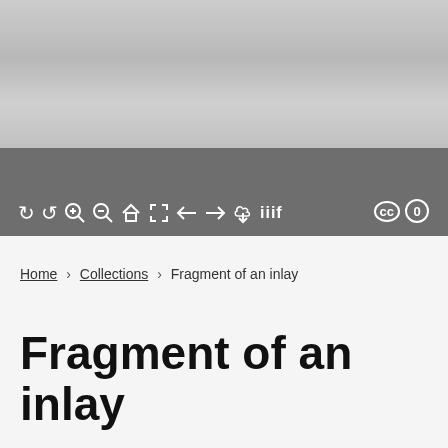[Figure (photo): A grayscale photograph with light gray tones, showing an artifact or museum piece from above. The image is partially cropped.]
[Figure (screenshot): Toolbar with dark gray background containing viewer icons: rotate left, rotate right, zoom in, zoom out, home, fullscreen, arrow left, arrow right, download, IIIF logo on the left; CC and zero icons on the right.]
Home > Collections > Fragment of an inlay
Fragment of an inlay